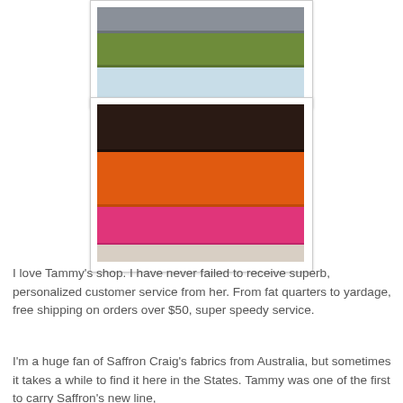[Figure (photo): Partial view of folded fabric swatches showing gray, green, and light blue/white horizontal bands]
[Figure (photo): Stacked folded fabric swatches showing dark brown/black, orange, hot pink, and cream/beige horizontal bands arranged in a bordered card]
I love Tammy's shop. I have never failed to receive superb, personalized customer service from her. From fat quarters to yardage, free shipping on orders over $50, super speedy service.
I'm a huge fan of Saffron Craig's fabrics from Australia, but sometimes it takes a while to find it here in the States. Tammy was one of the first to carry Saffron's new line,